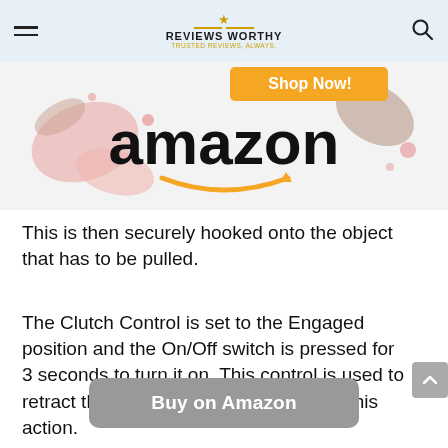Reviews Worthy — TRUSTED REVIEWS, ALWAYS.
[Figure (illustration): Amazon shop now banner with decorative floral/leaf elements and Amazon logo with smile arrow]
This is then securely hooked onto the object that has to be pulled.
The Clutch Control is set to the Engaged position and the On/Off switch is pressed for 3 seconds to turn it on. This control is used to retract the rope, pulling the object with this action.
Buy on Amazon